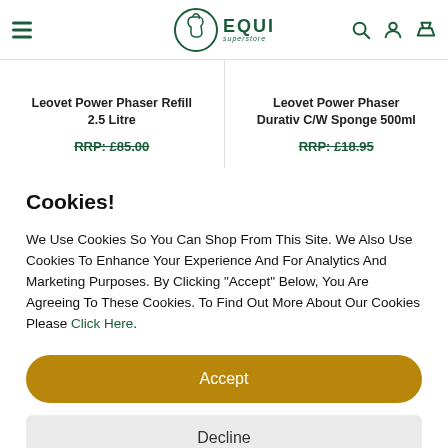[Figure (logo): Equi Superstore logo with horse head icon and green text 'EQUI superstore']
Leovet Power Phaser Refill 2.5 Litre
RRP: £85.00
Leovet Power Phaser Durativ C/W Sponge 500ml
RRP: £18.95
Cookies!
We Use Cookies So You Can Shop From This Site. We Also Use Cookies To Enhance Your Experience And For Analytics And Marketing Purposes. By Clicking "Accept" Below, You Are Agreeing To These Cookies. To Find Out More About Our Cookies Please Click Here.
Accept
Decline